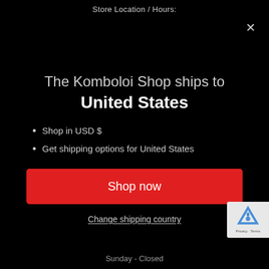Store Location / Hours:
The Komboloi Shop ships to United States
Shop in USD $
Get shipping options for United States
Shop now
Change shipping country
Sunday - Closed